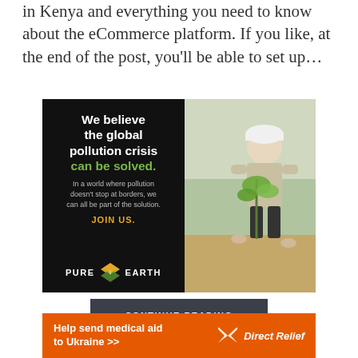in Kenya and everything you need to know about the eCommerce platform. If you like, at the end of the post, you'll be able to set up…
[Figure (infographic): Pure Earth advertisement. Black left panel with bold white text 'We believe the global pollution crisis' followed by green text 'can be solved.' with subtext 'In a world where pollution doesn't stop at borders, we can all be part of the solution.' and orange text 'JOIN US.' with Pure Earth logo at bottom. Right panel shows a photo of a person in hard hat planting a tree sapling.]
CONTINUE READING
[Figure (infographic): Orange Direct Relief banner with white bold text 'Help send medical aid to Ukraine >>' and Direct Relief logo on the right.]